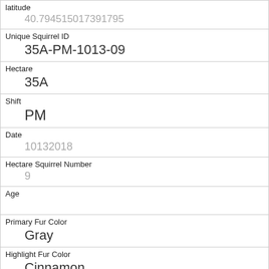| Field | Value |
| --- | --- |
| latitude | 40.794515017391795 |
| Unique Squirrel ID | 35A-PM-1013-09 |
| Hectare | 35A |
| Shift | PM |
| Date | 10132018 |
| Hectare Squirrel Number | 9 |
| Age |  |
| Primary Fur Color | Gray |
| Highlight Fur Color | Cinnamon |
| Combination of Primary and Highlight Color | Gray+Cinnamon |
| Color notes |  |